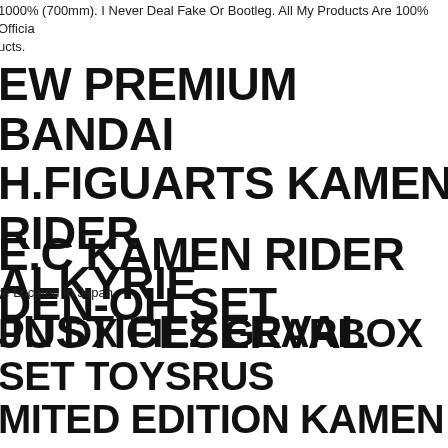1000% (700mm). I Never Deal Fake Or Bootleg. All My Products Are 100% Official ucts.
EW PREMIUM BANDAI H.FIGUARTS KAMEN RIDER ALKYRIE JUSTICESERVAL
E.C KAMEN RIDER DEN-OH SET
re Located In Japan.
PN DX FIEZ GEARBOX SET TOYSRUS MITED EDITION KAMEN RIDER 555 ANDAI
re All Japanese Staff. We Always Will Be Happy To Help You!
ANDAI CSM/SUPER HERO ELT/TYPHOON/KAMEN RIDER 50TH NNIVERSARY MEMORIAL LC460